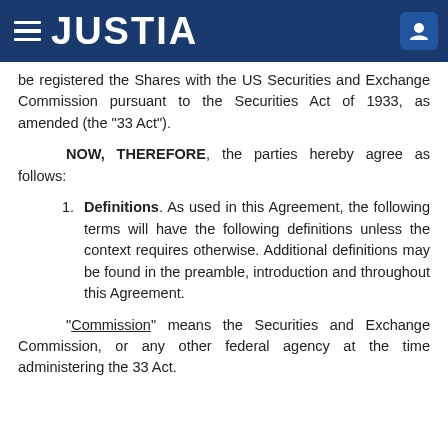JUSTIA
be registered the Shares with the US Securities and Exchange Commission pursuant to the Securities Act of 1933, as amended (the "33 Act").
NOW, THEREFORE, the parties hereby agree as follows:
1. Definitions. As used in this Agreement, the following terms will have the following definitions unless the context requires otherwise. Additional definitions may be found in the preamble, introduction and throughout this Agreement.
"Commission" means the Securities and Exchange Commission, or any other federal agency at the time administering the 33 Act.